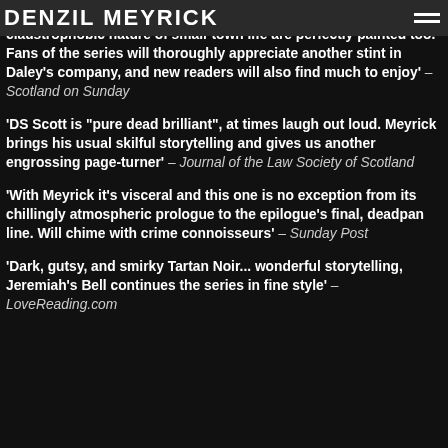DENZIL MEYRICK
Kimberly Harbour wants. The remote peninsula and the claustrophobic nature of small-town life are perfectly painted too. Fans of the series will thoroughly appreciate another stint in Daley’s company, and new readers will also find much to enjoy’ – Scotland on Sunday
‘DS Scott is “pure dead brilliant”, at times laugh out loud. Meyrick brings his usual skilful storytelling and gives us another engrossing page-turner’ – Journal of the Law Society of Scotland
‘With Meyrick it’s visceral and this one is no exception from its chillingly atmospheric prologue to the epilogue’s final, deadman line. Will chime with crime connoisseurs’ – Sunday Post
‘Dark, gutsy, and smirky Tartan Noir... wonderful storytelling, Jeremiah’s Bell continues the series in fine style’ – LoveReading.com